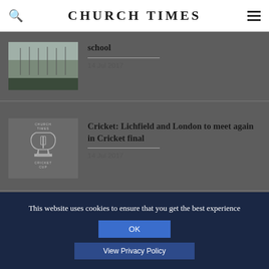CHURCH TIMES
[Figure (photo): Partial view of a building with flagpoles, partially cropped at top]
school
14 Jul 2017
[Figure (logo): Church Times Cricket Cup logo]
Cricket: Lichfield and London to meet again in Cricket final
14 Jul 2017
This website uses cookies to ensure that you get the best experience
OK
View Privacy Policy